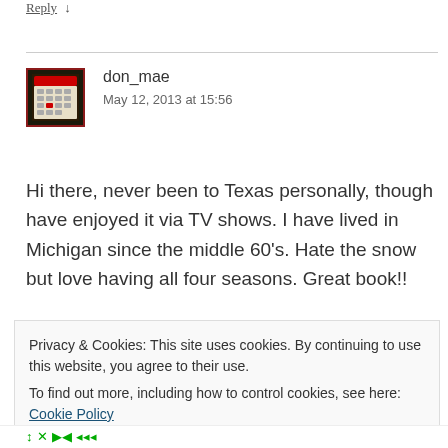center of the state.
Reply ↓
don_mae
May 12, 2013 at 15:56
Hi there, never been to Texas personally, though have enjoyed it via TV shows. I have lived in Michigan since the middle 60's. Hate the snow but love having all four seasons. Great book!!
Privacy & Cookies: This site uses cookies. By continuing to use this website, you agree to their use.
To find out more, including how to control cookies, see here: Cookie Policy
[Close and accept]